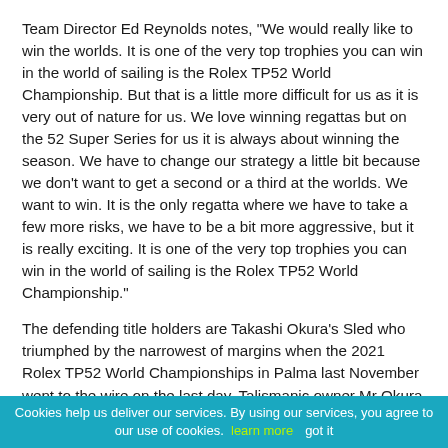Team Director Ed Reynolds notes, "We would really like to win the worlds. It is one of the very top trophies you can win in the world of sailing is the Rolex TP52 World Championship. But that is a little more difficult for us as it is very out of nature for us. We love winning regattas but on the 52 Super Series for us it is always about winning the season. We have to change our strategy a little bit because we don't want to get a second or a third at the worlds. We want to win. It is the only regatta where we have to take a few more risks, we have to be a bit more aggressive, but it is really exciting. It is one of the very top trophies you can win in the world of sailing is the Rolex TP52 World Championship."
The defending title holders are Takashi Okura's Sled who triumphed by the narrowest of margins when the 2021 Rolex TP52 World Championships in Palma last November went to the wire on the last day. Talismanic owner Mr Okura could not attend last year's regattas and has given the team free rein to push as hard and risk as
Cookies help us deliver our services. By using our services, you agree to our use of cookies. learn more    got it